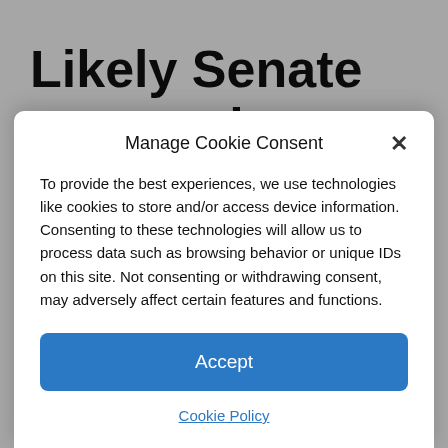Likely Senate contest in Kentucky pits ideological opposites | Health, Medicine
Manage Cookie Consent
To provide the best experiences, we use technologies like cookies to store and/or access device information. Consenting to these technologies will allow us to process data such as browsing behavior or unique IDs on this site. Not consenting or withdrawing consent, may adversely affect certain features and functions.
Accept
Cookie Policy